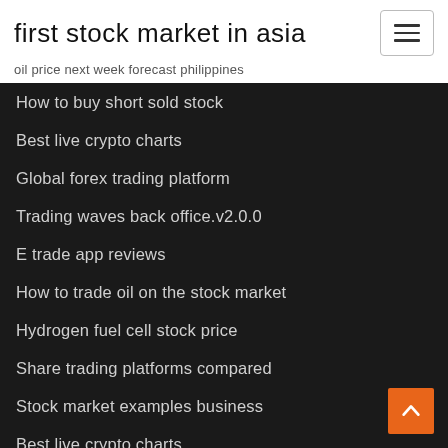first stock market in asia
oil price next week forecast philippines
How to buy short sold stock
Best live crypto charts
Global forex trading platform
Trading waves back office.v2.0.0
E trade app reviews
How to trade oil on the stock market
Hydrogen fuel cell stock price
Share trading platforms compared
Stock market examples business
Best live crypto charts